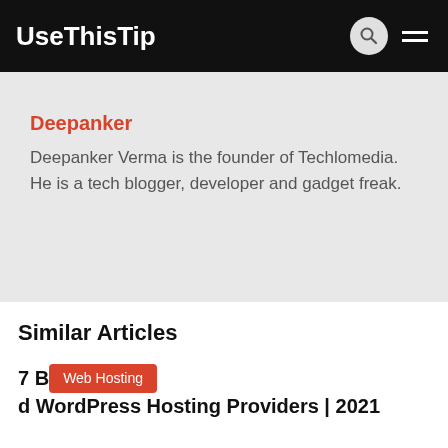UseThisTip
Deepanker
Deeplanker Verma is the founder of Techlomedia. He is a tech blogger, developer and gadget freak.
Similar Articles
7 Best Managed WordPress Hosting Providers | 2021